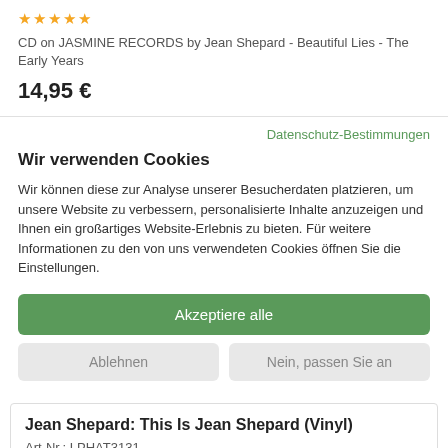[Figure (other): Five gold/orange star rating icons]
CD on JASMINE RECORDS by Jean Shepard - Beautiful Lies - The Early Years
14,95 €
Datenschutz-Bestimmungen
Wir verwenden Cookies
Wir können diese zur Analyse unserer Besucherdaten platzieren, um unsere Website zu verbessern, personalisierte Inhalte anzuzeigen und Ihnen ein großartiges Website-Erlebnis zu bieten. Für weitere Informationen zu den von uns verwendeten Cookies öffnen Sie die Einstellungen.
Akzeptiere alle
Ablehnen
Nein, passen Sie an
Jean Shepard: This Is Jean Shepard (Vinyl)
Art-Nr.: LPHAT3131